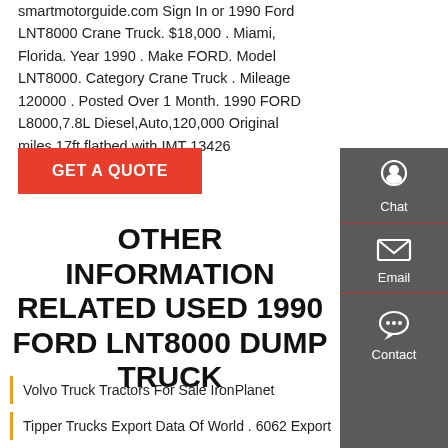smartmotorguide.com Sign In or 1990 Ford LNT8000 Crane Truck. $18,000 . Miami, Florida. Year 1990 . Make FORD. Model LNT8000. Category Crane Truck . Mileage 120000 . Posted Over 1 Month. 1990 FORD L8000,7.8L Diesel,Auto,120,000 Original miles,17ft flatbed,with IMT 13426 Knuckleboom crane,riding
[Figure (screenshot): GET A QUOTE button (red)]
[Figure (infographic): Sidebar with Chat, Email, Contact icons on dark grey background]
OTHER INFORMATION RELATED USED 1990 FORD LNT8000 DUMP TRUCK
Volvo Truck Tractors For Sale IronPlanet
Tipper Trucks Export Data Of World . 6062 Export